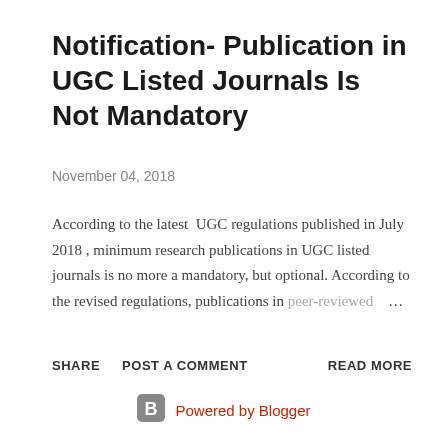Notification- Publication in UGC Listed Journals Is Not Mandatory
November 04, 2018
According to the latest  UGC regulations published in July 2018 , minimum research publications in UGC listed journals is no more a mandatory, but optional. According to the revised regulations, publications in peer-reviewed …
SHARE   POST A COMMENT   READ MORE
Powered by Blogger